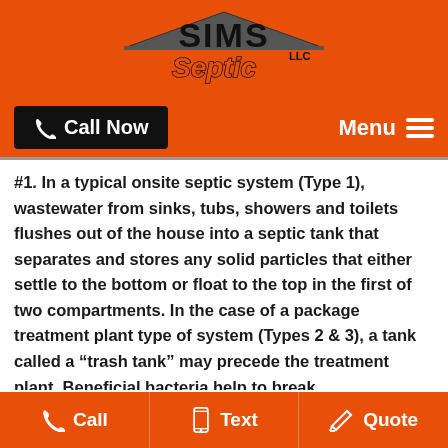[Figure (logo): SIMS Septic LLC logo in black and orange lettering on orange background]
Call Now   Menu
#1.  In a typical onsite septic system (Type 1), wastewater from sinks, tubs, showers and toilets flushes out of the house into a septic tank that separates and stores any solid particles that either settle to the bottom or float to the top in the first of two compartments.  In the case of a package treatment plant type of system (Types 2 & 3), a tank called a “trash tank” may precede the treatment plant.  Beneficial bacteria help to break
Call   Text   Quote